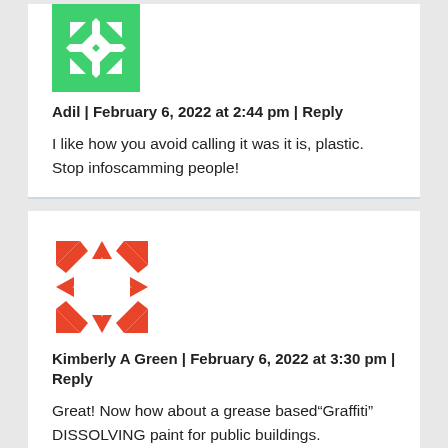[Figure (illustration): Green geometric patterned avatar icon for user Adil]
Adil | February 6, 2022 at 2:44 pm | Reply
I like how you avoid calling it was it is, plastic. Stop infoscamming people!
[Figure (illustration): Red/orange geometric patterned avatar icon for user Kimberly A Green]
Kimberly A Green | February 6, 2022 at 3:30 pm | Reply
Great! Now how about a grease based“Graffiti” DISSOLVING paint for public buildings.